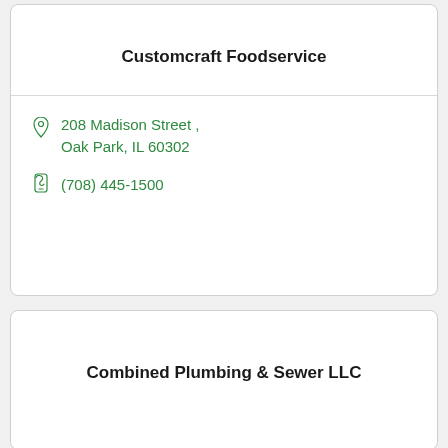Customcraft Foodservice
208 Madison Street , Oak Park, IL 60302
(708) 445-1500
Combined Plumbing & Sewer LLC